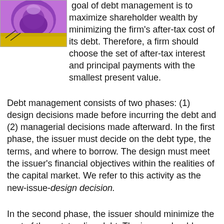[Figure (illustration): Purple and yellow illustrated image, partially visible at top-left corner of the page, showing an abstract or decorative scene.]
goal of debt management is to maximize shareholder wealth by minimizing the firm's after-tax cost of its debt. Therefore, a firm should choose the set of after-tax interest and principal payments with the smallest present value.
Debt management consists of two phases: (1) design decisions made before incurring the debt and (2) managerial decisions made afterward. In the first phase, the issuer must decide on the debt type, the terms, and where to borrow. The design must meet the issuer's financial objectives within the realities of the capital market. We refer to this activity as the new-issue-design decision.
In the second phase, the issuer should minimize the cost of the outstanding debt. The issuer should actively seek opportunities to redeem and replace,